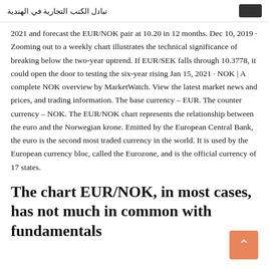تبادل الكتب التجارية في الهندية
2021 and forecast the EUR/NOK pair at 10.20 in 12 months. Dec 10, 2019 · Zooming out to a weekly chart illustrates the technical significance of breaking below the two-year uptrend. If EUR/SEK falls through 10.3778, it could open the door to testing the six-year rising Jan 15, 2021 · NOK | A complete NOK overview by MarketWatch. View the latest market news and prices, and trading information. The base currency – EUR. The counter currency – NOK. The EUR/NOK chart represents the relationship between the euro and the Norwegian krone. Emitted by the European Central Bank, the euro is the second most traded currency in the world. It is used by the European currency bloc, called the Eurozone, and is the official currency of 17 states.
The chart EUR/NOK, in most cases, has not much in common with fundamentals